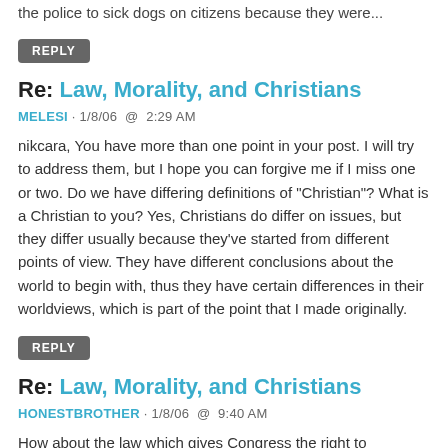the police to sick dogs on citizens because they were...
REPLY
Re: Law, Morality, and Christians
MELESI · 1/8/06  @  2:29 AM
nikcara, You have more than one point in your post. I will try to address them, but I hope you can forgive me if I miss one or two. Do we have differing definitions of "Christian"? What is a Christian to you? Yes, Christians do differ on issues, but they differ usually because they've started from different points of view. They have different conclusions about the world to begin with, thus they have certain differences in their worldviews, which is part of the point that I made originally.
REPLY
Re: Law, Morality, and Christians
HONESTBROTHER · 1/8/06  @  9:40 AM
How about the law which gives Congress the right to authorize the President to declare war?
REPLY